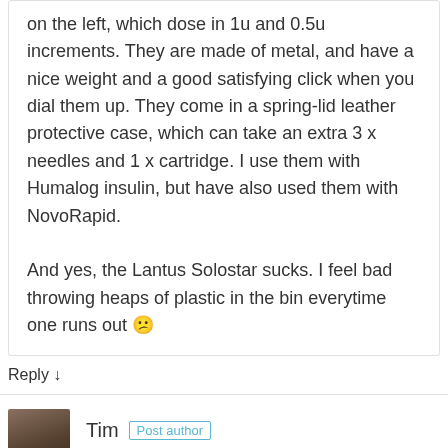on the left, which dose in 1u and 0.5u increments. They are made of metal, and have a nice weight and a good satisfying click when you dial them up. They come in a spring-lid leather protective case, which can take an extra 3 x needles and 1 x cartridge. I use them with Humalog insulin, but have also used them with NovoRapid.

And yes, the Lantus Solostar sucks. I feel bad throwing heaps of plastic in the bin everytime one runs out 😕
Reply ↓
Tim  Post author
1 June, 2010
@kaitake – yeah, the one on the left is the one I use. I still love it 😊